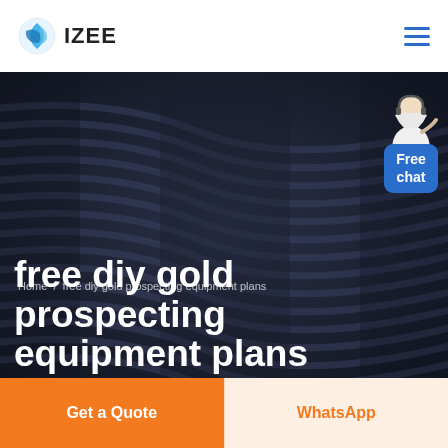IZEE
[Figure (screenshot): Website hero section with dark background showing architectural stripes pattern, a customer service representative chat widget in the top right corner, breadcrumb navigation, and large bold white title text about free diy gold prospecting equipment plans]
Home  /  free diy gold prospecting equipment plans
free diy gold prospecting equipment plans
Get a Quote
WhatsApp